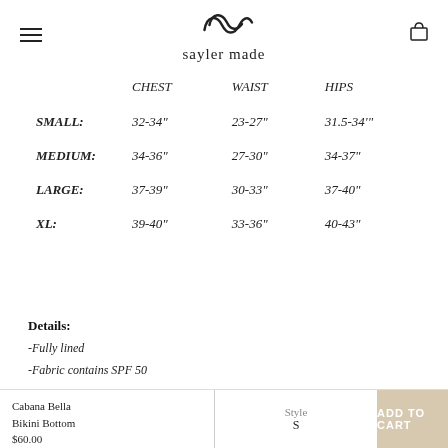sayler made
|  | CHEST | WAIST | HIPS |
| --- | --- | --- | --- |
| SMALL: | 32-34" | 23-27" | 31.5-34""" |
| MEDIUM: | 34-36" | 27-30" | 34-37" |
| LARGE: | 37-39" | 30-33" | 37-40" |
| XL: | 39-40" | 33-36" | 40-43" |
Details:
-Fully lined
-Fabric contains SPF 50
Cabana Bella Bikini Bottom $60.00 | Style S | ADD TO CART